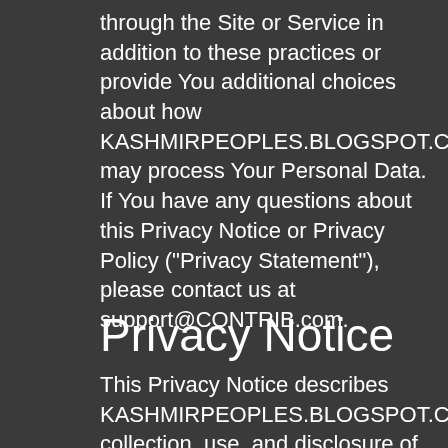through the Site or Service in addition to these practices or provide You additional choices about how KASHMIRPEOPLES.BLOGSPOT.COM may process Your Personal Data. If You have any questions about this Privacy Notice or Privacy Policy ("Privacy Statement"), please contact us at support@CONTRIB.com.
Privacy Notice
This Privacy Notice describes KASHMIRPEOPLES.BLOGSPOT.COM's collection, use, and disclosure of the